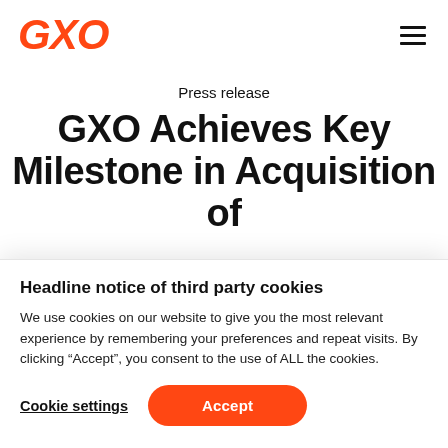GXO
Press release
GXO Achieves Key Milestone in Acquisition of
Headline notice of third party cookies
We use cookies on our website to give you the most relevant experience by remembering your preferences and repeat visits. By clicking “Accept”, you consent to the use of ALL the cookies.
Cookie settings
Accept